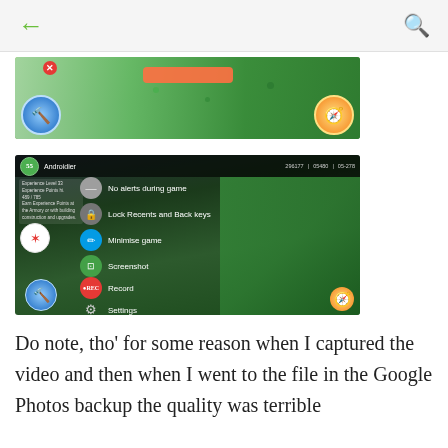← [back] [search icon]
[Figure (screenshot): Screenshot of a mobile game (city-builder) showing a game scene with green terrain, buildings, and a red close button. An orange bar is visible at the top center.]
[Figure (screenshot): Screenshot of a mobile game with an overlay menu showing options: No alerts during game, Lock Recents and Back keys, Minimise game, Screenshot, Record, Settings. Game scene shows isometric city-builder view.]
Do note, tho' for some reason when I captured the video and then when I went to the file in the Google Photos backup the quality was terrible